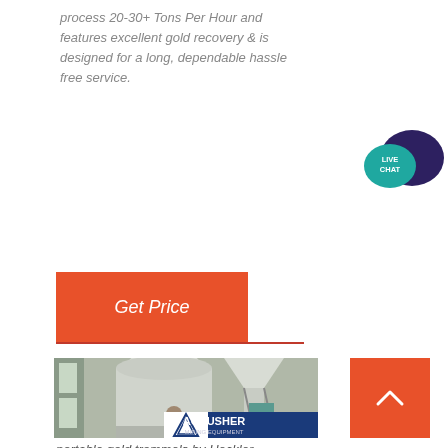process 20-30+ Tons Per Hour and features excellent gold recovery & is designed for a long, dependable hassle free service.
[Figure (other): Orange 'Get Price' button with red underline]
[Figure (photo): Industrial mining equipment (portable gold trommel) in a large building, with ACRUSHER MINING EQUIPMENT logo overlay]
portable gold trommels by Heckler Fabrication mining equipment
[Figure (other): Live Chat speech bubble icon in teal and dark blue]
[Figure (other): Orange scroll-to-top button with up arrow]